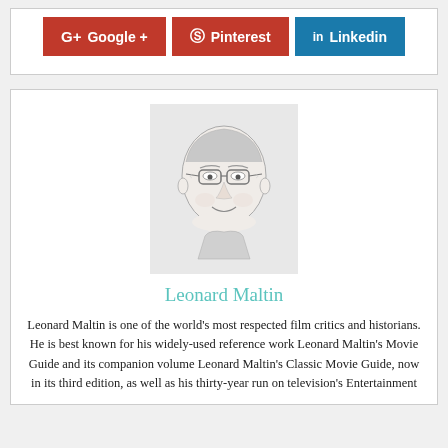[Figure (other): Social media sharing buttons: Google+, Pinterest, LinkedIn]
[Figure (illustration): Pencil sketch portrait of Leonard Maltin, an older man with glasses and a smile]
Leonard Maltin
Leonard Maltin is one of the world's most respected film critics and historians. He is best known for his widely-used reference work Leonard Maltin's Movie Guide and its companion volume Leonard Maltin's Classic Movie Guide, now in its third edition, as well as his thirty-year run on television's Entertainment